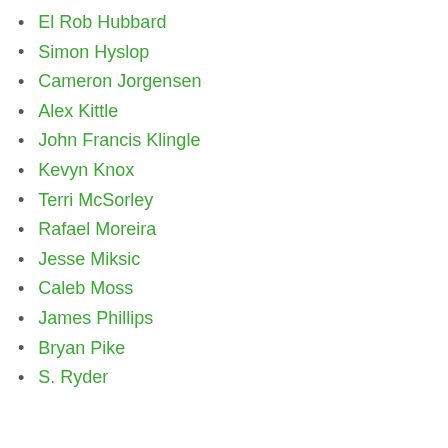El Rob Hubbard
Simon Hyslop
Cameron Jorgensen
Alex Kittle
John Francis Klingle
Kevyn Knox
Terri McSorley
Rafael Moreira
Jesse Miksic
Caleb Moss
James Phillips
Bryan Pike
S. Ryder